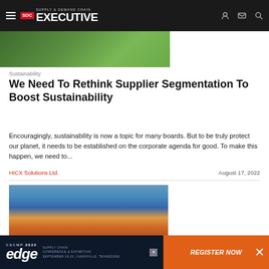SDC Supply & Demand Chain Executive
[Figure (photo): Partial hero image showing green nature/hands background, cropped at top]
Sustainability
We Need To Rethink Supplier Segmentation To Boost Sustainability
Encouragingly, sustainability is now a topic for many boards. But to be truly protect our planet, it needs to be established on the corporate agenda for good. To make this happen, we need to...
HICX Solutions Ltd.          August 17, 2022
[Figure (photo): Aerial view of cargo ships and shipping containers at a port]
[Figure (other): CSCMP 2022 Edge Supply Chain Conference & Exhibition advertisement banner with orange Register Now button]